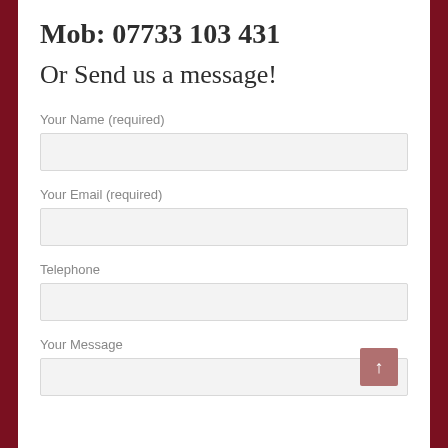Mob: 07733 103 431
Or Send us a message!
Your Name (required)
Your Email (required)
Telephone
Your Message